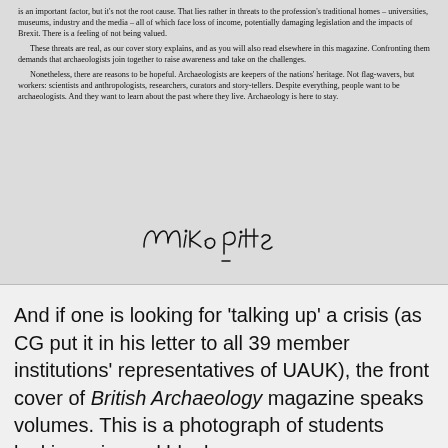is an important factor, but it's not the root cause. That lies rather in threats to the profession's traditional homes – universities, museums, industry and the media – all of which face loss of income, potentially damaging legislation and the impacts of Brexit. There is a feeling of not being valued.

These threats are real, as our cover story explains, and as you will also read elsewhere in this magazine. Confronting them demands that archaeologists join together to raise awareness and take on the challenges.

Nonetheless, there are reasons to be hopeful. Archaeologists are keepers of the nations' heritage. Not flag-wavers, but workers: scientists and anthropologists, researchers, curators and story-tellers. Despite everything, people want to be archaeologists. And they want to learn about the past where they live. Archaeology is here to stay.
[Figure (other): Handwritten signature reading 'mike pitts' with a short underline dash]
And if one is looking for 'talking up' a crisis (as CG put it in his letter to all 39 member institutions' representatives of UAUK), the front cover of British Archaeology magazine speaks volumes. This is a photograph of students looking grim and bleak